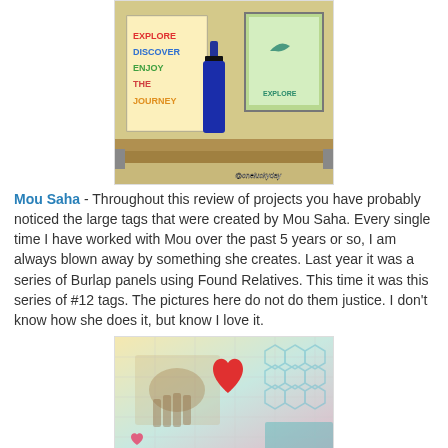[Figure (photo): Photo of craft art pieces on a wooden shelf: colorful handmade paper art with text EXPLORE, DISCOVER, ENJOY THE JOURNEY; a dark blue glass bottle in the center; a framed artwork on the right. Watermark reads @oneluckyday]
Mou Saha - Throughout this review of projects you have probably noticed the large tags that were created by Mou Saha. Every single time I have worked with Mou over the past 5 years or so, I am always blown away by something she creates. Last year it was a series of Burlap panels using Found Relatives. This time it was this series of #12 tags. The pictures here do not do them justice. I don't know how she does it, but know I love it.
[Figure (photo): Photo of colorful mixed-media artwork featuring a hand illustration, a large red heart, and hexagon patterns in pastel colors]